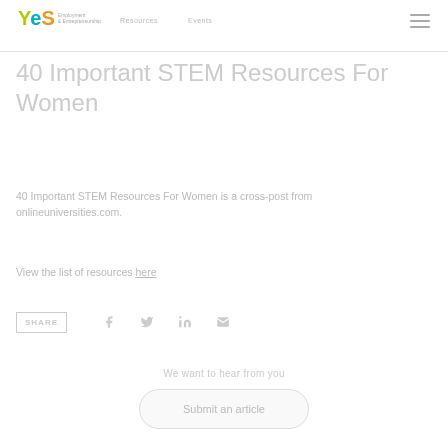YES Employment & Entrepreneurship — navigation header
40 Important STEM Resources For Women
40 Important STEM Resources For Women is a cross-post from onlineuniversities.com.
View the list of resources here
SHARE
We want to hear from you
Submit an article